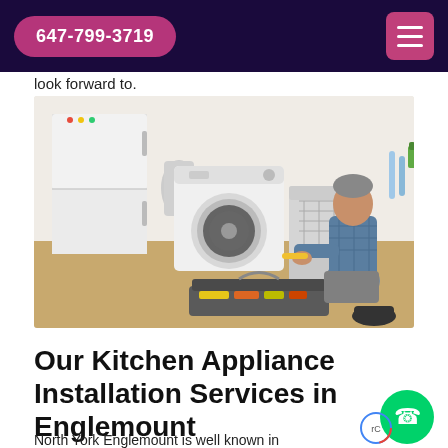647-799-3719
look forward to.
[Figure (photo): A technician kneeling on the floor working on a kitchen appliance (dishwasher or refrigerator) with a screwdriver, next to a washing machine and fridge, with an open toolbox on the floor.]
Our Kitchen Appliance Installation Services in Englemount
North York Englemount is well known in